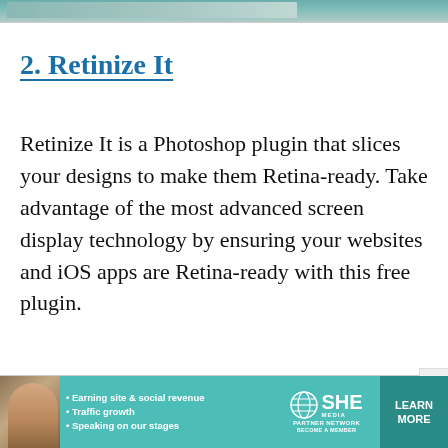[Figure (photo): Top strip showing a partial screenshot or image, likely from a Photoshop or design tool interface with teal/blue-green tones.]
2. Retinize It
Retinize It is a Photoshop plugin that slices your designs to make them Retina-ready. Take advantage of the most advanced screen display technology by ensuring your websites and iOS apps are Retina-ready with this free plugin.
[Figure (photo): Advertisement banner for SHE Partner Network featuring a woman photo, bullet points about earning site & social revenue, traffic growth, speaking on our stages, SHE logo, and a Learn More button.]